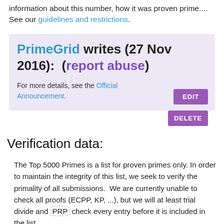information about this number, how it was proven prime.... See our guidelines and restrictions.
PrimeGrid writes (27 Nov 2016):  (report abuse)
For more details, see the Official Announcement.
Verification data:
The Top 5000 Primes is a list for proven primes only. In order to maintain the integrity of this list, we seek to verify the primality of all submissions.  We are currently unable to check all proofs (ECPP, KP, ...), but we will at least trial divide and PRP check every entry before it is included in the list.